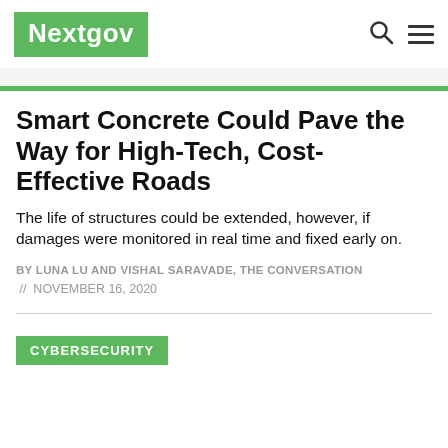Nextgov
Smart Concrete Could Pave the Way for High-Tech, Cost-Effective Roads
The life of structures could be extended, however, if damages were monitored in real time and fixed early on.
BY LUNA LU AND VISHAL SARAVADE, THE CONVERSATION
// NOVEMBER 16, 2020
CYBERSECURITY